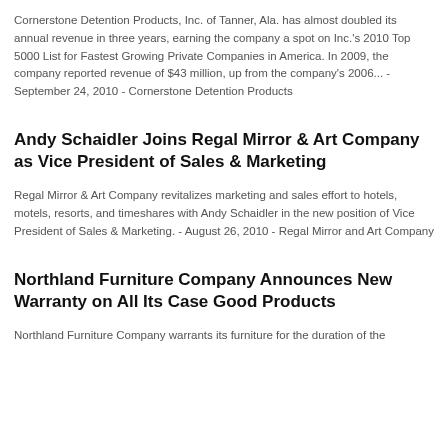Cornerstone Detention Products, Inc. of Tanner, Ala. has almost doubled its annual revenue in three years, earning the company a spot on Inc.'s 2010 Top 5000 List for Fastest Growing Private Companies in America. In 2009, the company reported revenue of $43 million, up from the company's 2006... - September 24, 2010 - Cornerstone Detention Products
Andy Schaidler Joins Regal Mirror & Art Company as Vice President of Sales & Marketing
Regal Mirror & Art Company revitalizes marketing and sales effort to hotels, motels, resorts, and timeshares with Andy Schaidler in the new position of Vice President of Sales & Marketing. - August 26, 2010 - Regal Mirror and Art Company
Northland Furniture Company Announces New Warranty on All Its Case Good Products
Northland Furniture Company warrants its furniture for the duration of the